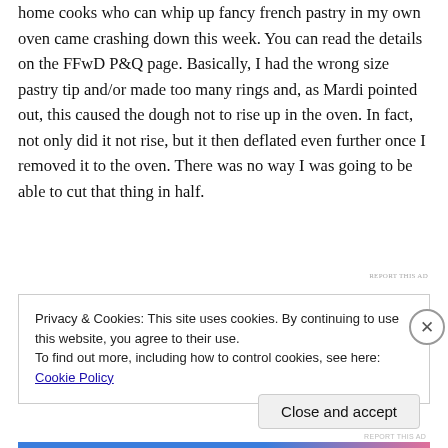home cooks who can whip up fancy french pastry in my own oven came crashing down this week. You can read the details on the FFwD P&Q page. Basically, I had the wrong size pastry tip and/or made too many rings and, as Mardi pointed out, this caused the dough not to rise up in the oven. In fact, not only did it not rise, but it then deflated even further once I removed it to the oven. There was no way I was going to be able to cut that thing in half.
REPORT THIS AD
Privacy & Cookies: This site uses cookies. By continuing to use this website, you agree to their use.
To find out more, including how to control cookies, see here: Cookie Policy
Close and accept